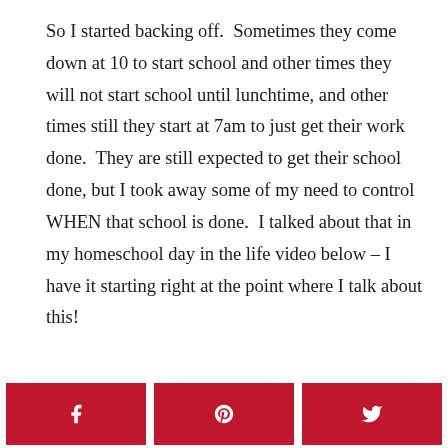So I started backing off.  Sometimes they come down at 10 to start school and other times they will not start school until lunchtime, and other times still they start at 7am to just get their work done.  They are still expected to get their school done, but I took away some of my need to control WHEN that school is done.  I talked about that in my homeschool day in the life video below – I have it starting right at the point where I talk about this!